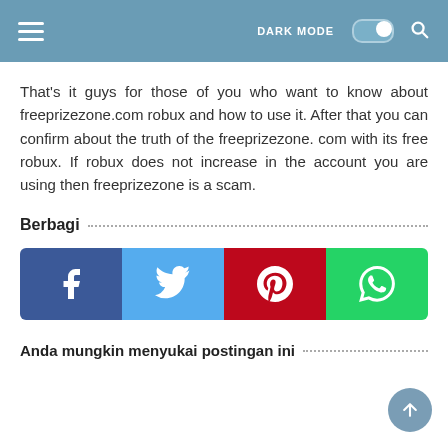DARK MODE [toggle] [search]
That's it guys for those of you who want to know about freeprizezone.com robux and how to use it. After that you can confirm about the truth of the freeprizezone. com with its free robux. If robux does not increase in the account you are using then freeprizezone is a scam.
Berbagi
[Figure (infographic): Four social media share buttons: Facebook (dark blue), Twitter (light blue), Pinterest (red), WhatsApp (green), each with white icon]
Anda mungkin menyukai postingan ini